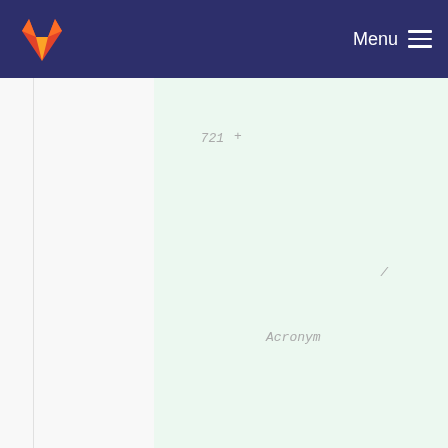Menu
721 +
/ 
Acronym

[Std_Attr]
String

//
acronym
<acronym>
</acronym>
722 +
/
Address

[Std_Attr]
String

//